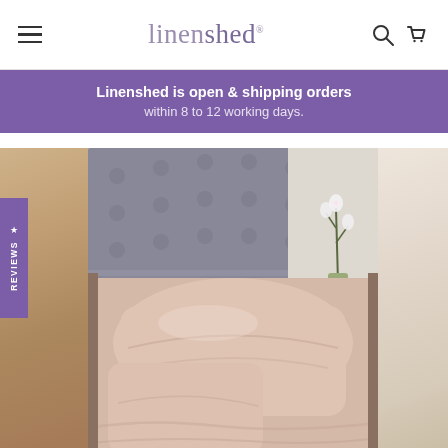linenshed® [hamburger menu, search icon, cart icon]
Linenshed is open & shipping orders within 8 to 12 working days.
[Figure (photo): Website screenshot showing linenshed homepage with blush/pink linen bedding with pillows on a bed with a grey tufted headboard, a white orchid plant visible in the background. Left sidebar shows a partial warm-toned bedroom image. Right side shows a partial image. A purple 'REVIEWS' tab with a star icon is on the left edge.]